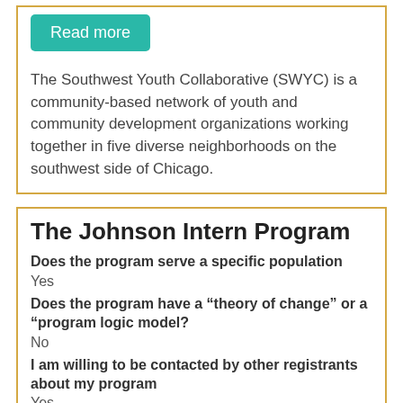[Figure (other): Read more button (teal/green rounded rectangle)]
The Southwest Youth Collaborative (SWYC) is a community-based network of youth and community development organizations working together in five diverse neighborhoods on the southwest side of Chicago.
The Johnson Intern Program
Does the program serve a specific population
Yes
Does the program have a “theory of change” or a “program logic model?
No
I am willing to be contacted by other registrants about my program
Yes